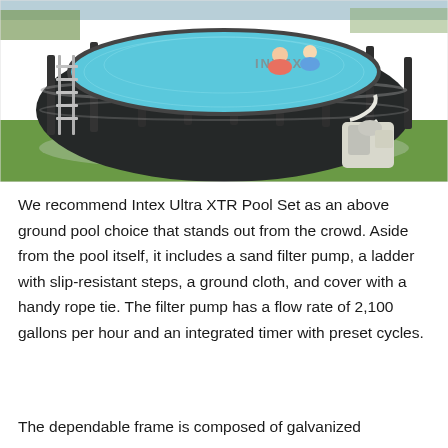[Figure (photo): An Intex Ultra XTR above-ground round pool set on a grass lawn, with a ladder on the left side and a sand filter pump connected on the right side. Children can be seen in the pool water. The pool has a dark gray frame with gray accent stripes.]
We recommend Intex Ultra XTR Pool Set as an above ground pool choice that stands out from the crowd. Aside from the pool itself, it includes a sand filter pump, a ladder with slip-resistant steps, a ground cloth, and cover with a handy rope tie. The filter pump has a flow rate of 2,100 gallons per hour and an integrated timer with preset cycles.
The dependable frame is composed of galvanized